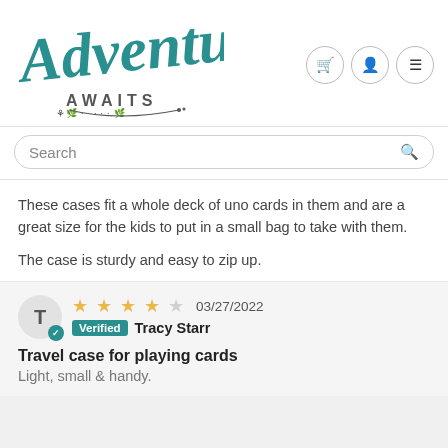[Figure (logo): Adventure Awaits store logo in teal cursive script with decorative leaf flourish]
Search
These cases fit a whole deck of uno cards in them and are a great size for the kids to put in a small bag to take with them.

The case is sturdy and easy to zip up.
03/27/2022 Verified Tracy Starr
Travel case for playing cards
Light, small & handy.